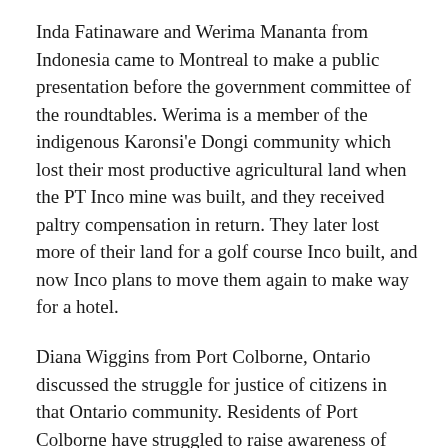Inda Fatinaware and Werima Mananta from Indonesia came to Montreal to make a public presentation before the government committee of the roundtables. Werima is a member of the indigenous Karonsi'e Dongi community which lost their most productive agricultural land when the PT Inco mine was built, and they received paltry compensation in return. They later lost more of their land for a golf course Inco built, and now Inco plans to move them again to make way for a hotel.
Diana Wiggins from Port Colborne, Ontario discussed the struggle for justice of citizens in that Ontario community. Residents of Port Colborne have struggled to raise awareness of health concerns and environmental contamination in their community as a result of soil contamination from Inco Ltd.'s refinery. Citizens have started legal action against Inco and are also involved in a Public Liaison